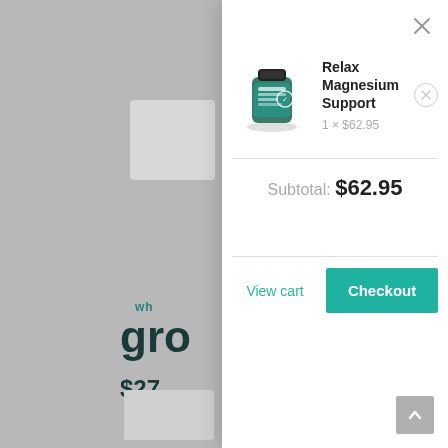[Figure (screenshot): Shopping cart modal popup on an e-commerce website showing Relax Magnesium Support product with quantity 1 at $62.95, subtotal $62.95, and buttons for View cart and Checkout. Background shows partially visible product listing with 'wh gro' text and $27 price.]
Relax Magnesium Support
1 × $62.95
Subtotal: $62.95
View cart
Checkout